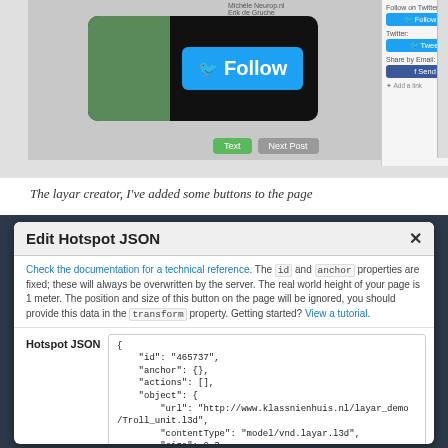[Figure (screenshot): Screenshot of Layar creator interface showing a Twitter follow button overlay on a profile image, with sidebar widgets for Follow, Tweet, and Share buttons]
The layar creator, I've added some buttons to the page
[Figure (screenshot): Edit Hotspot JSON modal dialog showing JSON editor with hotspot configuration including id, anchor, actions, object with url, contentType, size, and transform properties with scale and rotate settings]
Edit Hotspot JSON
Check the documentation for a technical reference. The id and anchor properties are fixed; these will always be overwritten by the server. The real world height of your page is 1 meter. The position and size of this button on the page will be ignored, you should provide this data in the transform property. Getting started? View a tutorial.
Hotspot JSON
{
    "id": "465737",
    "anchor": {},
    "actions": [],
    "object": {
        "url": "http://www.klassnienhuis.nl/layar_demo
/Troll_unit.l3d",
        "contentType": "model/vnd.layar.l3d",
        "size": 0.3
    },
    "transform": {
        "scale": 0.5,
        "rotate": {
            "rel": true,
            "axis": [
                "x": 1,
                "y": 0,
                "z": 0